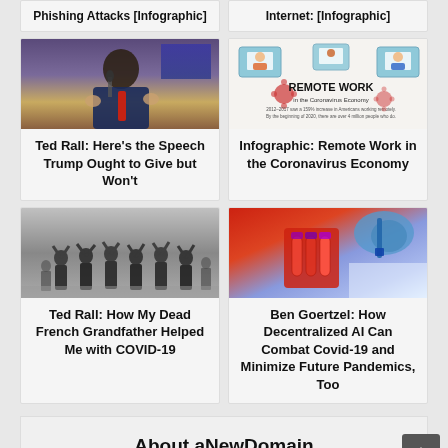[Figure (photo): Partial card top - Phishing Attacks [Infographic] title visible at top]
[Figure (photo): Partial card top - Internet: [Infographic] title visible at top]
[Figure (photo): Photo of Donald Trump speaking at podium with microphone, wearing blue suit and red tie, American flag in background]
Ted Rall: Here's the Speech Trump Ought to Give but Won't
[Figure (infographic): Remote Work in the Coronavirus Economy infographic showing illustrated people working remotely via video calls with coronavirus particles]
Infographic: Remote Work in the Coronavirus Economy
[Figure (photo): Black and white historical photo of soldiers or prisoners of war with hands raised]
Ted Rall: How My Dead French Grandfather Helped Me with COVID-19
[Figure (photo): Close-up photo of laboratory vials/test tubes in red rack being handled with blue gloves]
Ben Goertzel: How Decentralized AI Can Combat Covid-19 and Minimize Future Pandemics, Too
About aNewDomain